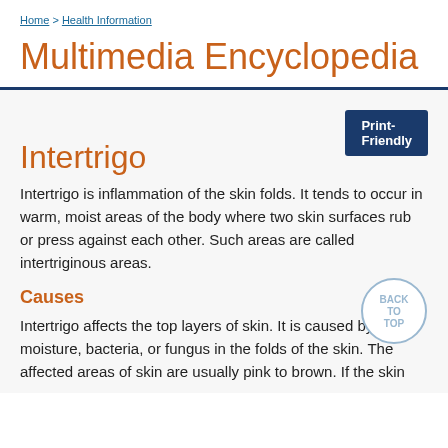Home > Health Information
Multimedia Encyclopedia
Print-Friendly
Intertrigo
Intertrigo is inflammation of the skin folds. It tends to occur in warm, moist areas of the body where two skin surfaces rub or press against each other. Such areas are called intertriginous areas.
Causes
Intertrigo affects the top layers of skin. It is caused by moisture, bacteria, or fungus in the folds of the skin. The affected areas of skin are usually pink to brown. If the skin